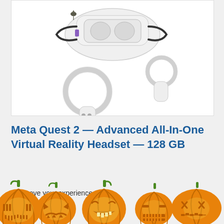[Figure (photo): Product photo of Meta Quest 2 VR headset (white) shown from top/side angle with two white VR hand controllers below it, against a white background.]
Meta Quest 2 — Advanced All-In-One Virtual Reality Headset — 128 GB
Improve your experience s...
[Figure (illustration): Row of five carved Halloween jack-o'-lantern pumpkins with glowing expressions, overlaying the bottom portion of the product listing page.]